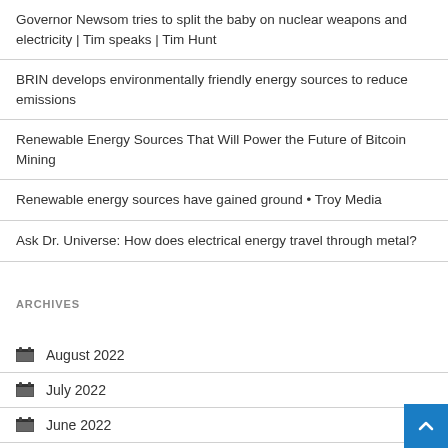Governor Newsom tries to split the baby on nuclear weapons and electricity | Tim speaks | Tim Hunt
BRIN develops environmentally friendly energy sources to reduce emissions
Renewable Energy Sources That Will Power the Future of Bitcoin Mining
Renewable energy sources have gained ground • Troy Media
Ask Dr. Universe: How does electrical energy travel through metal?
ARCHIVES
August 2022
July 2022
June 2022
May 2022